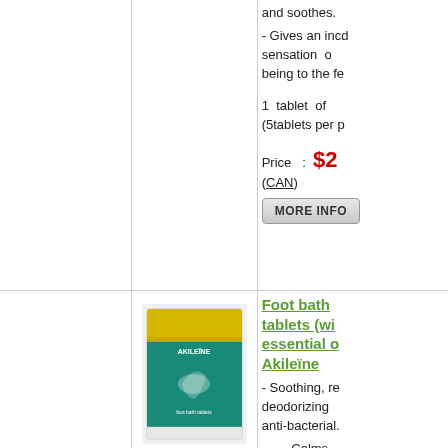and soothes.
- Gives an incd sensation of being to the fe
1 tablet of (5tablets per p
Price : $2 (CAN)
[Figure (screenshot): MORE INFO button]
Foot bath tablets (with essential o Akileïne
[Figure (photo): Akileïne foot bath tablets product box, teal/green and yellow packaging]
- Soothing, re deodorizing anti-bacterial.
- Calms comforts feet.
- Bubble up